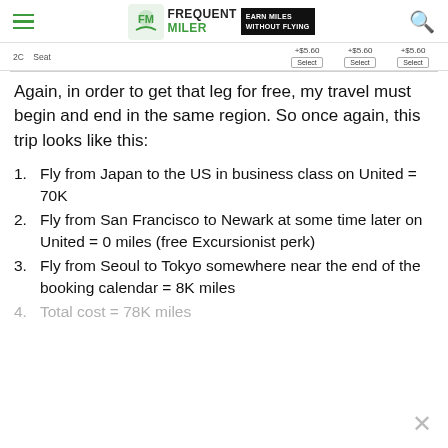FREQUENT MILER — EARN MILES WITHOUT FLYING
[Figure (screenshot): Partial view of a flight booking table showing prices +$5.60 and Select buttons]
Again, in order to get that leg for free, my travel must begin and end in the same region. So once again, this trip looks like this:
Fly from Japan to the US in business class on United = 70K
Fly from San Francisco to Newark at some time later on United = 0 miles (free Excursionist perk)
Fly from Seoul to Tokyo somewhere near the end of the booking calendar = 8K miles
Total cost = 78K miles